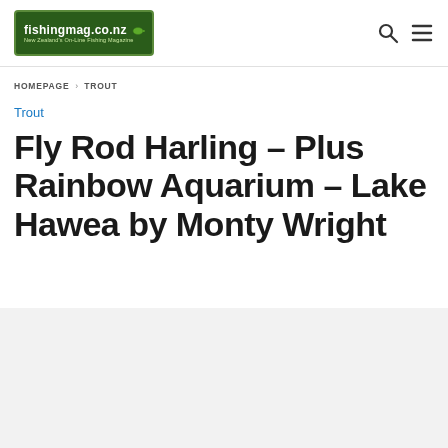fishingmag.co.nz — New Zealand's On-Line Fishing Magazine
HOMEPAGE › TROUT
Trout
Fly Rod Harling – Plus Rainbow Aquarium – Lake Hawea by Monty Wright